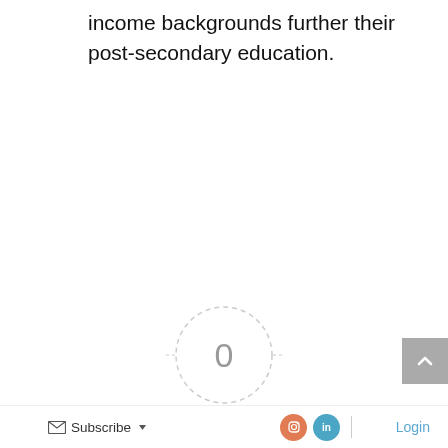income backgrounds further their post-secondary education.
[Figure (infographic): Article rating widget showing a dashed circle with the number 0 in the center, labeled 'Article Rating' below, with five empty star icons for user rating.]
Subscribe | [Instagram icon] [LinkedIn icon] | Login